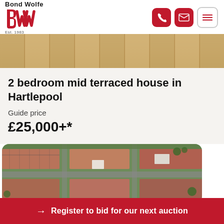[Figure (logo): Bond Wolfe logo with red BW lettermark and 'Est. 1983' text]
[Figure (illustration): Navigation icons: phone, email, and hamburger menu buttons in red and outlined style]
[Figure (photo): Wood floor / deck surface hero strip image]
2 bedroom mid terraced house in Hartlepool
Guide price
£25,000+*
[Figure (photo): Aerial photograph of terraced housing in Hartlepool]
→ Register to bid for our next auction